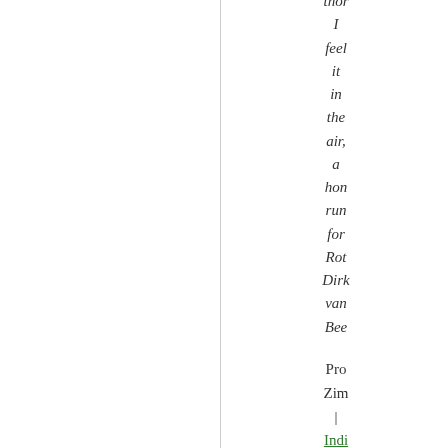thor
I
feel
it
in
the
air,
a
hon
run
for
Rot
Dirk
van
Bee
Pro
Zim
|
Indigenous Women of the World
|
American Red Cross
|
Hel